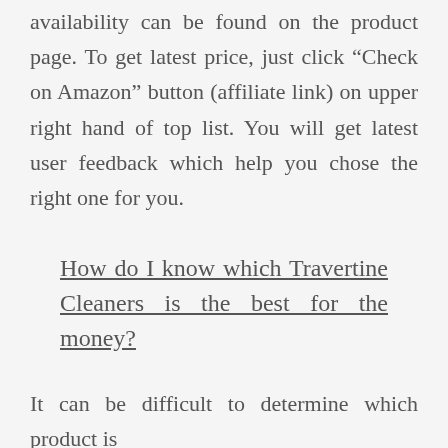availability can be found on the product page. To get latest price, just click “Check on Amazon” button (affiliate link) on upper right hand of top list. You will get latest user feedback which help you chose the right one for you.
How do I know which Travertine Cleaners is the best for the money?
It can be difficult to determine which product is